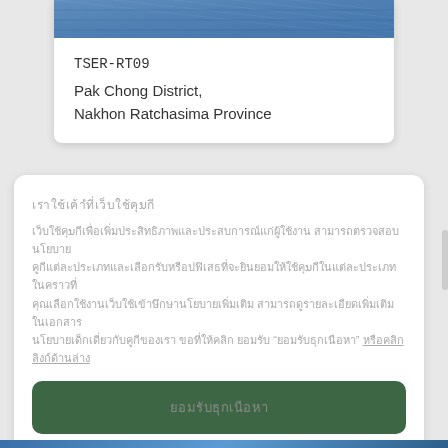[Figure (photo): Solar panel image at top of card]
TSER-RT09
Pak Chong District,
Nakhon Ratchasima Province
Thai text heading (cookie consent heading)
Thai body text (cookie consent body with link)
Thai button text (accept button)
Thai manage link text
Powered By COOKIEWOW